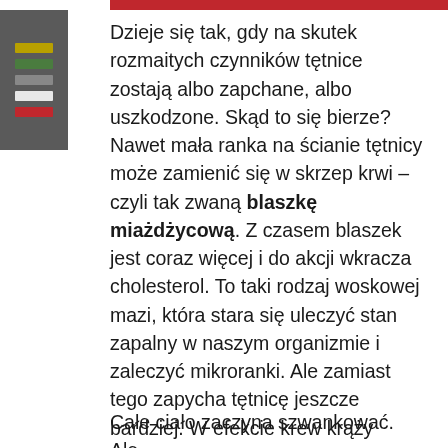Dzieje się tak, gdy na skutek rozmaitych czynników tętnice zostają albo zapchane, albo uszkodzone. Skąd to się bierze? Nawet mała ranka na ścianie tętnicy może zamienić się w skrzep krwi – czyli tak zwaną blaszkę miażdżycową. Z czasem blaszek jest coraz więcej i do akcji wkracza cholesterol. To taki rodzaj woskowej mazi, która stara się uleczyć stan zapalny w naszym organizmie i zaleczyć mikroranki. Ale zamiast tego zapycha tętnicę jeszcze bardziej. W efekcie krew krąży coraz słabiej i przestaje dostarczać wszystkim organom koniecznego do życia tlenu i pożywienia.
Całe ciało zaczyna szwankować. Ale